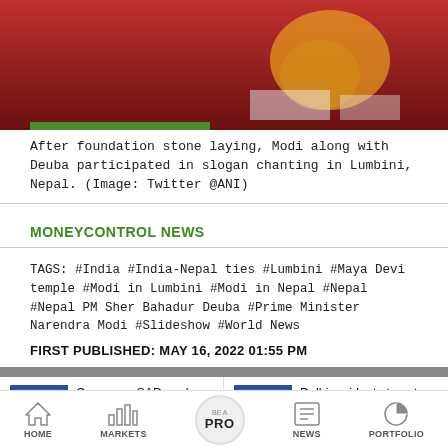[Figure (photo): Photo of Modi and Deuba participating in slogan chanting at Lumbini, Nepal, with a reddish background and decorative golden figures]
After foundation stone laying, Modi along with Deuba participated in slogan chanting in Lumbini, Nepal. (Image: Twitter @ANI)
MONEYCONTROL NEWS
TAGS: #India #India-Nepal ties #Lumbini #Maya Devi temple #Modi in Lumbini #Modi in Nepal #Nepal #Nepal PM Sher Bahadur Deuba #Prime Minister Narendra Modi #Slideshow #World News
FIRST PUBLISHED: MAY 16, 2022 01:55 PM
Congress, SAD seek probe into Punjab's
Delhi residents to get missed call, WhatsApp